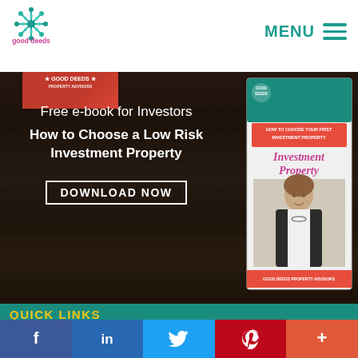[Figure (logo): Good Deeds Property Advisors logo with decorative snowflake/leaf icon above text]
MENU ☰
[Figure (illustration): Dark wood texture background hero section with partial red book cover at top left and e-book cover on right showing woman in suit with 'How to Choose a Low Risk Investment Property' text]
Free e-book for Investors
How to Choose a Low Risk Investment Property
DOWNLOAD NOW
QUICK LINKS
[Figure (infographic): Social media share bar at bottom with Facebook, LinkedIn, Twitter, Pinterest, and More (+) buttons]